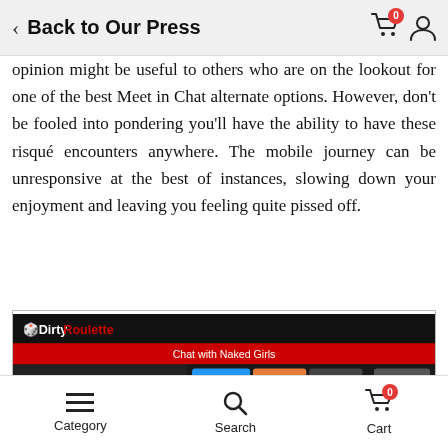Back to Our Press
opinion might be useful to others who are on the lookout for one of the best Meet in Chat alternate options. However, don't be fooled into pondering you'll have the ability to have these risqué encounters anywhere. The mobile journey can be unresponsive at the best of instances, slowing down your enjoyment and leaving you feeling quite pissed off.
[Figure (screenshot): Screenshot of DirtyRoulette website showing a dark-themed interface with Start, Stop, Girls buttons, a 'Chat with Naked Girls' banner, and a blue Start button with a gender selector.]
Category   Search   Cart